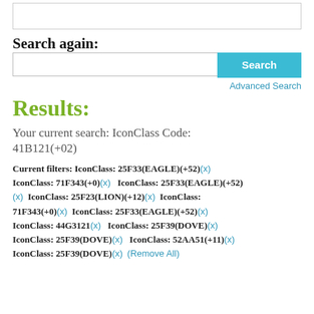Search again:
[Figure (screenshot): Search input box with a teal 'Search' button on the right]
Advanced Search
Results:
Your current search: IconClass Code: 41B121(+02)
Current filters: IconClass: 25F33(EAGLE)(+52)(x) IconClass: 71F343(+0)(x) IconClass: 25F33(EAGLE)(+52)(x) IconClass: 25F23(LION)(+12)(x) IconClass: 71F343(+0)(x) IconClass: 25F33(EAGLE)(+52)(x) IconClass: 44G3121(x) IconClass: 25F39(DOVE)(x) IconClass: 25F39(DOVE)(x) IconClass: 52AA51(+11)(x) IconClass: 25F39(DOVE)(x) (Remove All)